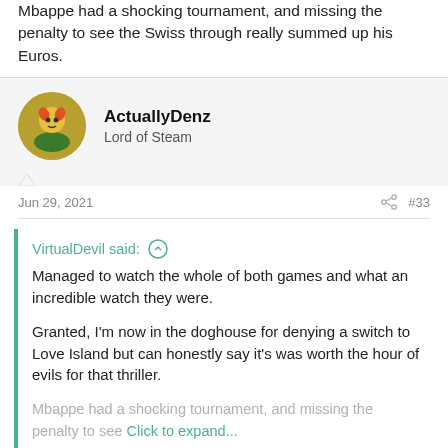Mbappe had a shocking tournament, and missing the penalty to see the Swiss through really summed up his Euros.
ActuallyDenz
Lord of Steam
Jun 29, 2021
#33
VirtualDevil said:
Managed to watch the whole of both games and what an incredible watch they were.

Granted, I'm now in the doghouse for denying a switch to Love Island but can honestly say it's was worth the hour of evils for that thriller.
Mbappe had a shocking tournament, and missing the penalty to see
Click to expand...
As an Everton fan, I'd rather sit on the Kop during the Merseyside Derby than watch Love Island - being in the